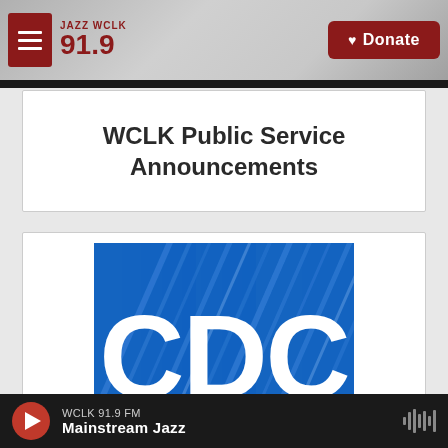JAZZ WCLK 91.9 | Donate
WCLK Public Service Announcements
[Figure (logo): CDC (Centers for Disease Control and Prevention) logo — white letters CDC on blue square background with diagonal line design elements]
WCLK 91.9 FM | Mainstream Jazz